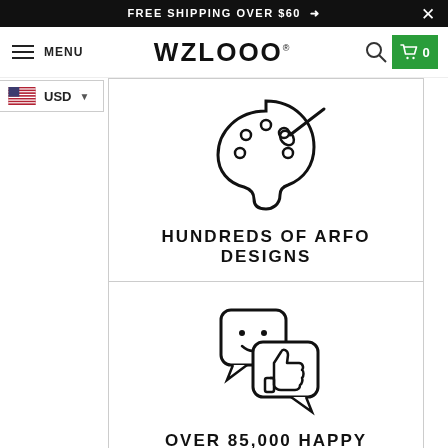FREE SHIPPING OVER $60 →  ✕
MENU  WZLOOO®  🔍  🛒 0
[Figure (illustration): Paint palette with brush icon]
HUNDREDS OF ARFO DESIGNS
[Figure (illustration): Speech bubble with smiley face and thumbs up icon]
OVER 85,000 HAPPY CUSTOMERS
USD